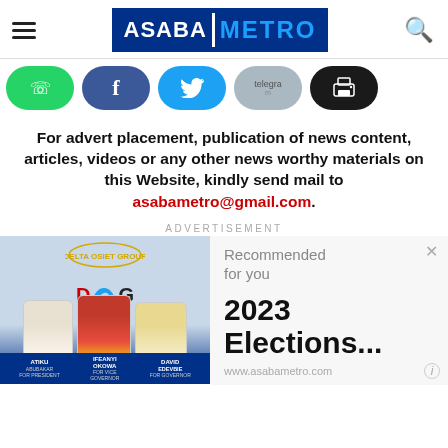ASABA METRO
[Figure (infographic): Social sharing buttons: WhatsApp (green), Facebook (dark blue), Twitter (light blue), Telegram (grey), Print (black)]
For advert placement, publication of news content, articles, videos or any other news worthy materials on this Website, kindly send mail to asabametro@gmail.com.
ADVERTISEMENT
[Figure (photo): Campaign ad showing three men in traditional attire with text: ATIKU ABUBAKAR FOR PRESIDENT, IFEANYI OKOWA FOR VICE PRESIDENT, DAVID EDEVBIE FOR GOVERNOR. Delta Osiet Group logo at top.]
Recommended for you
2023 Elections...
www.asabametro.com